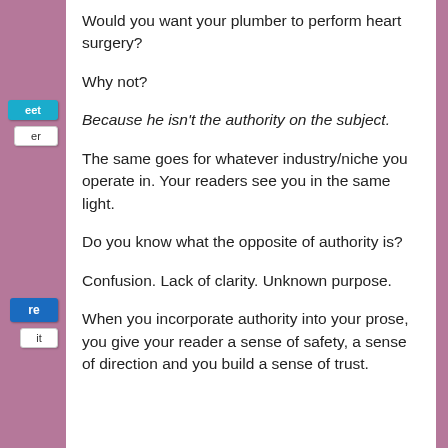Would you want your plumber to perform heart surgery?
Why not?
Because he isn't the authority on the subject.
The same goes for whatever industry/niche you operate in. Your readers see you in the same light.
Do you know what the opposite of authority is?
Confusion. Lack of clarity. Unknown purpose.
When you incorporate authority into your prose, you give your reader a sense of safety, a sense of direction and you build a sense of trust.